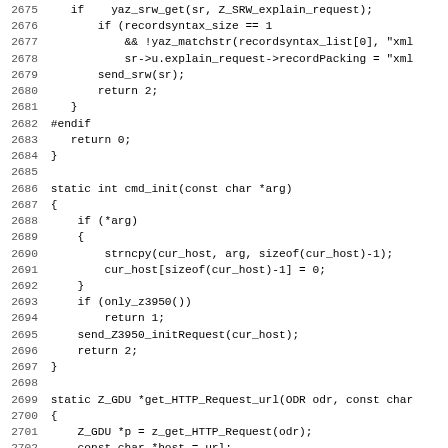Source code listing, lines 2675-2707, C programming language
2675: if    yaz_srw_get(sr, Z_SRW_explain_request);
2676:     if (recordsyntax_size == 1
2677:         && !yaz_matchstr(recordsyntax_list[0], "xml
2678:         sr->u.explain_request->recordPacking = "xml
2679:     send_srw(sr);
2680:     return 2;
2681:     }
2682: #endif
2683:     return 0;
2684: }
2685:
2686: static int cmd_init(const char *arg)
2687: {
2688:     if (*arg)
2689:     {
2690:         strncpy(cur_host, arg, sizeof(cur_host)-1);
2691:         cur_host[sizeof(cur_host)-1] = 0;
2692:     }
2693:     if (only_z3950())
2694:         return 1;
2695:     send_Z3950_initRequest(cur_host);
2696:     return 2;
2697: }
2698:
2699: static Z_GDU *get_HTTP_Request_url(ODR odr, const char
2700: {
2701:     Z_GDU *p = z_get_HTTP_Request(odr);
2702:     const char *host = url;
2703:     const char *cp0 = strstr(host, "://");
2704:     const char *cp1 = 0;
2705:     if (cp0)
2706:         cp0 = cp0+3;
2707:     else